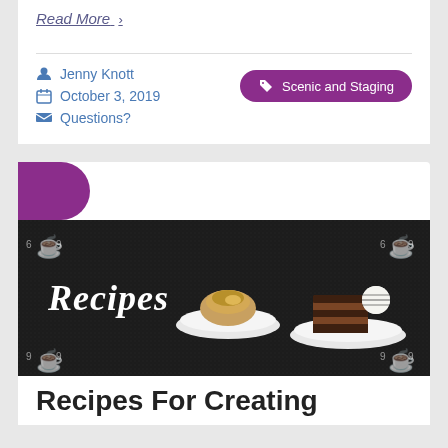Read More ›
Jenny Knott
October 3, 2019
Questions?
Scenic and Staging
[Figure (photo): Dark background recipe banner image with food items (pastry on plate, chocolate cake slice) and the word 'Recipes' in cursive white script, with small chef/teapot decorative icons in corners]
Recipes For Creating